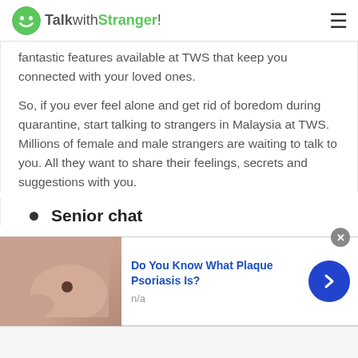TalkwithStranger!
fantastic features available at TWS that keep you connected with your loved ones.
So, if you ever feel alone and get rid of boredom during quarantine, start talking to strangers in Malaysia at TWS. Millions of female and male strangers are waiting to talk to you. All they want to share their feelings, secrets and suggestions with you.
Senior chat
[Figure (screenshot): Advertisement banner: photo of skin with mole on left, blue bold text 'Do You Know What Plaque Psoriasis Is?' with subtext 'n/a', blue circular arrow button on right, close X button top right]